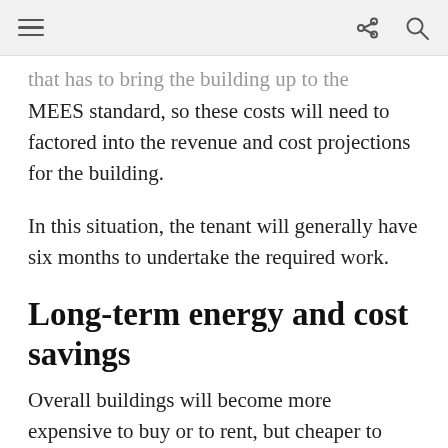[navigation bar with hamburger menu, share icon, and search icon]
that has to bring the building up to the relevant MEES standard, so these costs will need to factored into the revenue and cost projections for the building.
In this situation, the tenant will generally have six months to undertake the required work.
Long-term energy and cost savings
Overall buildings will become more expensive to buy or to rent, but cheaper to run. Landlords and tenants will also have an additional set of compliance issues to consider before entering into a new lease.